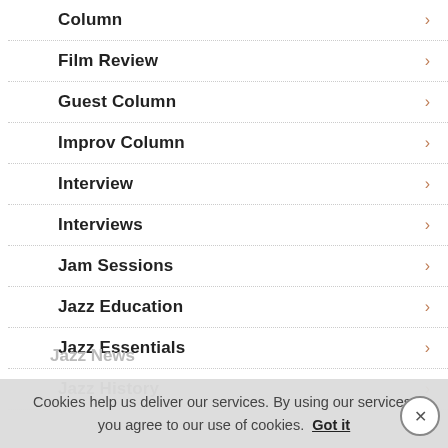Column
Film Review
Guest Column
Improv Column
Interview
Interviews
Jam Sessions
Jazz Education
Jazz Essentials
Jazz History
Jazz News
Cookies help us deliver our services. By using our services, you agree to our use of cookies. Got it